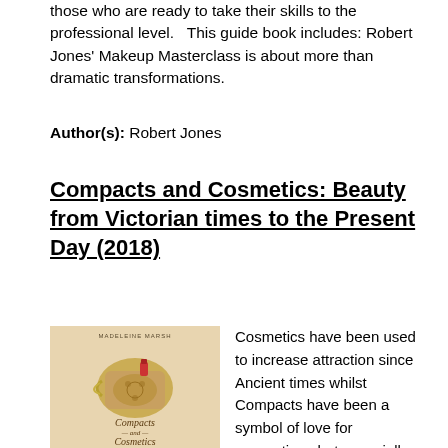those who are ready to take their skills to the professional level.   This guide book includes:  Robert Jones' Makeup Masterclass is about more than dramatic transformations.
Author(s): Robert Jones
Compacts and Cosmetics: Beauty from Victorian times to the Present Day (2018)
[Figure (photo): Book cover of Compacts and Cosmetics by Madeleine Marsh, showing ornate vintage compacts and cosmetic accessories on a cream background with the title text in cursive.]
Cosmetics have been used to increase attraction since Ancient times whilst Compacts have been a symbol of love for generations but especially since the 1920s. In this fascinating book, vintage accessories' expert